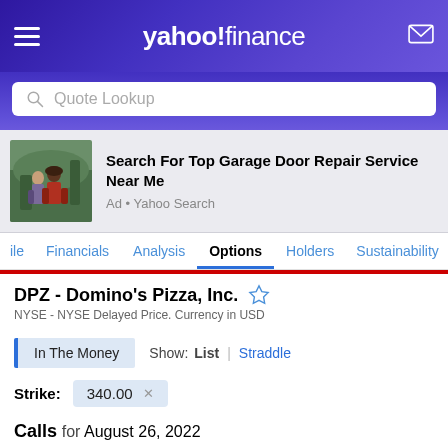yahoo! finance
Quote Lookup
[Figure (photo): Advertisement photo showing two people hiking outdoors on a trail]
Search For Top Garage Door Repair Service Near Me
Ad • Yahoo Search
ile  Financials  Analysis  Options  Holders  Sustainability
DPZ - Domino's Pizza, Inc.
NYSE - NYSE Delayed Price. Currency in USD
In The Money  Show: List | Straddle
Strike: 340.00
Calls  for  August 26, 2022